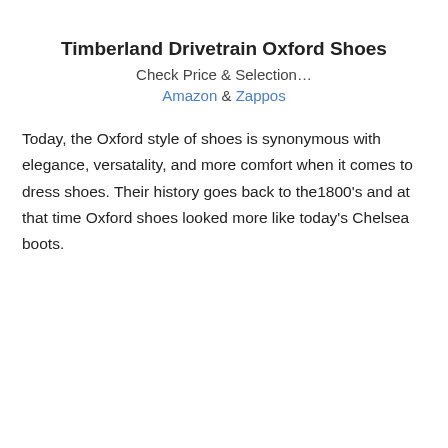Timberland Drivetrain Oxford Shoes
Check Price & Selection…
Amazon & Zappos
Today, the Oxford style of shoes is synonymous with elegance, versatality, and more comfort when it comes to dress shoes. Their history goes back to the1800's and at that time Oxford shoes looked more like today's Chelsea boots.